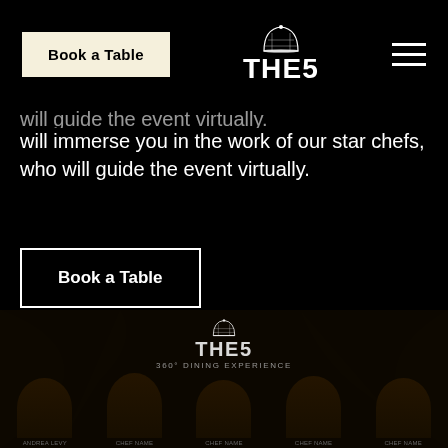[Figure (logo): THE5 restaurant logo with dome icon and Book a Table button and hamburger menu in black navigation bar]
will immerse you in the work of our star chefs, who will guide the event virtually.
Book a Table
[Figure (photo): THE5 360° Dining Experience branding with dome logo overlaid on a dark photo background showing five chefs standing together]